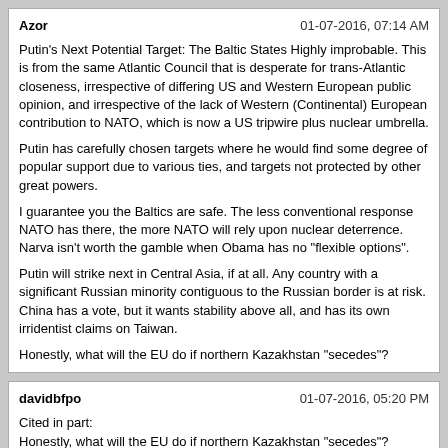Azor | 01-07-2016, 07:14 AM
Putin's Next Potential Target: The Baltic States Highly improbable. This is from the same Atlantic Council that is desperate for trans-Atlantic closeness, irrespective of differing US and Western European public opinion, and irrespective of the lack of Western (Continental) European contribution to NATO, which is now a US tripwire plus nuclear umbrella.

Putin has carefully chosen targets where he would find some degree of popular support due to various ties, and targets not protected by other great powers.

I guarantee you the Baltics are safe. The less conventional response NATO has there, the more NATO will rely upon nuclear deterrence. Narva isn't worth the gamble when Obama has no "flexible options".

Putin will strike next in Central Asia, if at all. Any country with a significant Russian minority contiguous to the Russian border is at risk. China has a vote, but it wants stability above all, and has its own irridentist claims on Taiwan.

Honestly, what will the EU do if northern Kazakhstan "secedes"?
davidbfpo | 01-07-2016, 05:20 PM
Cited in part:
Honestly, what will the EU do if northern Kazakhstan "secedes"?

Nothing beyond a diplomatic statement. The EU has enough to "do" closer to home and shows little inclination to be effective in Central Asia. The Baltic states are different.

I am not sure there is such a place as 'Northern Kazakhstan' and having consulted Wikipedia I noted these facts:
In 1989, ethnic Russians were 37.8% of the population and Kazakhs held a majority in only 7 of the 20 regions of the country.

In the 1999 Census there were 4,480,675 Russians (29.9% pop) and in 2009